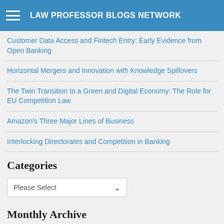LAW PROFESSOR BLOGS NETWORK
Customer Data Access and Fintech Entry: Early Evidence from Open Banking
Horizontal Mergers and Innovation with Knowledge Spillovers
The Twin Transition to a Green and Digital Economy: The Role for EU Competition Law
Amazon's Three Major Lines of Business
Interlocking Directorates and Competition in Banking
Categories
Please Select
Monthly Archive